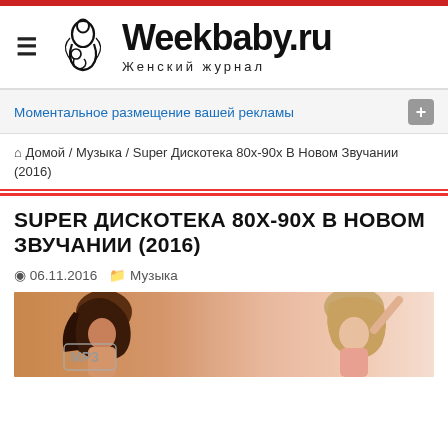Weekbaby.ru — Женский журнал
Моментальное размещение вашей рекламы
🏠 Домой / Музыка / Super Дискотека 80х-90х В Новом Звучании (2016)
SUPER ДИСКОТЕКА 80Х-90Х В НОВОМ ЗВУЧАНИИ (2016)
06.11.2016   Музыка
[Figure (photo): Two women smiling and dancing, with an MP3 label overlay in the top-left corner]